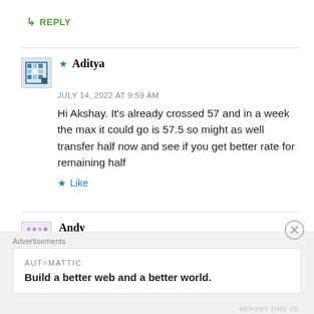↳ REPLY
★ Aditya
JULY 14, 2022 AT 9:59 AM
Hi Akshay. It's already crossed 57 and in a week the max it could go is 57.5 so might as well transfer half now and see if you get better rate for remaining half
★ Like
Andy
MAY 30, 2022 AT 11:50 PM
Advertisements
AUTOMATTIC
Build a better web and a better world.